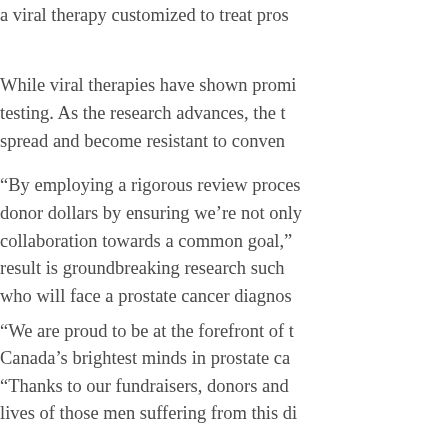a viral therapy customized to treat pros...
While viral therapies have shown promi... testing. As the research advances, the t... spread and become resistant to conven...
“By employing a rigorous review proces... donor dollars by ensuring we’re not only... collaboration towards a common goal,”... result is groundbreaking research such... who will face a prostate cancer diagnos...
“We are proud to be at the forefront of t... Canada’s brightest minds in prostate ca... “Thanks to our fundraisers, donors and... lives of those men suffering from this di...
The principal co-investigators are: John... Hotte, Rodney Breau. The co-investiga... McCart, Yonghong Wan.
For more information about Virus vs. Pr...